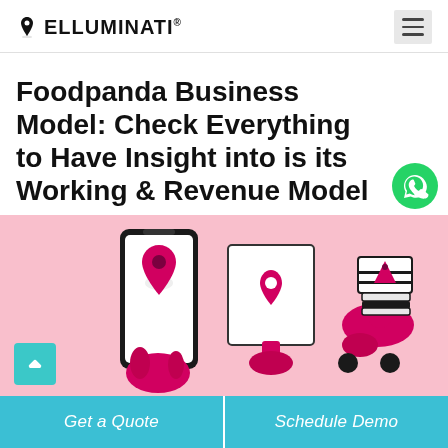ELLUMINATI®
Foodpanda Business Model: Check Everything to Have Insight into is its Working & Revenue Model
[Figure (illustration): Illustration on a pink background showing a hand holding a smartphone with a food delivery app (location pin icon), a map/board with a location pin, and a delivery person on a scooter carrying a large stacked box with a pizza slice logo. A teal scroll-up button is overlaid bottom left.]
Get a Quote   Schedule Demo